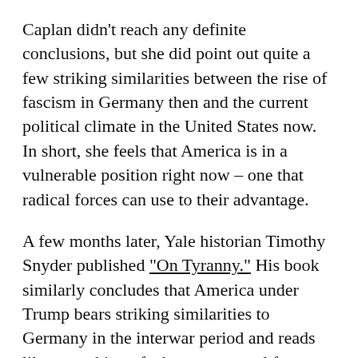Caplan didn't reach any definite conclusions, but she did point out quite a few striking similarities between the rise of fascism in Germany then and the current political climate in the United States now. In short, she feels that America is in a vulnerable position right now – one that radical forces can use to their advantage.
A few months later, Yale historian Timothy Snyder published "On Tyranny." His book similarly concludes that America under Trump bears striking similarities to Germany in the interwar period and reads like something of a how-to manual for resisting the rise of authoritarianism in today's America.
Respectable warning voices like these, engaging in historical analysis grounded in empirical